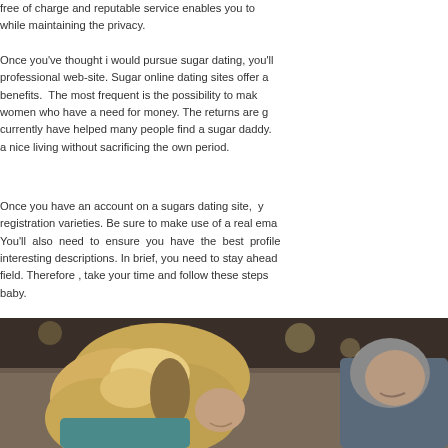free of charge and reputable service enables you to while maintaining the privacy.
Once you've thought i would pursue sugar dating, you'll professional web-site. Sugar online dating sites offer a benefits. The most frequent is the possibility to mak women who have a need for money. The returns are g currently have helped many people find a sugar daddy. a nice living without sacrificing the own period.
Once you have an account on a sugars dating site, y registration varieties. Be sure to make use of a real ema You'll also need to ensure you have the best profile interesting descriptions. In brief, you need to stay ahead field. Therefore , take your time and follow these steps baby.
[Figure (photo): A couple, a woman with long blonde hair and a man, smiling and leaning close together, photographed from behind/side angle]